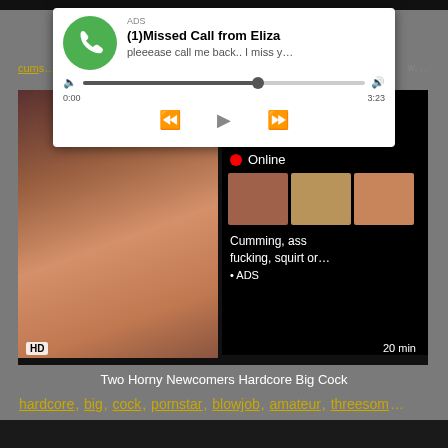[Figure (screenshot): Ad popup overlay showing missed call notification from Eliza with audio player controls]
ADS
(1)Missed Call from Eliza
pleeease call me back.. I miss y...
0:00
3:23
[Figure (screenshot): Adult video player with embedded ad overlay showing 'WHAT DO YOU WANT? WATCH' with Online indicator and thumbnail images]
WHAT DO YOU WANT?
WATCH
Online
Cumming, ass fucking, squirt or...
• ADS
HD
20 min
Two Horny Newcomers Hardcore Big Cock
hardcore, big, cock, pornstar, blowjob, amateur, threesom...